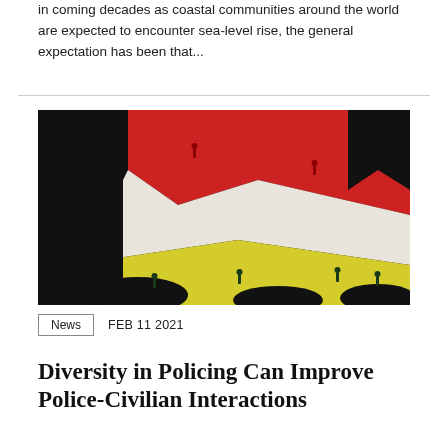in coming decades as coastal communities around the world are expected to encounter sea-level rise, the general expectation has been that...
[Figure (illustration): Artistic collage illustration showing silhouetted figures walking across coloured paper-like terrain divided into black, red, white, and yellow sections, with a blue circle on the left side.]
News   FEB 11 2021
Diversity in Policing Can Improve Police-Civilian Interactions